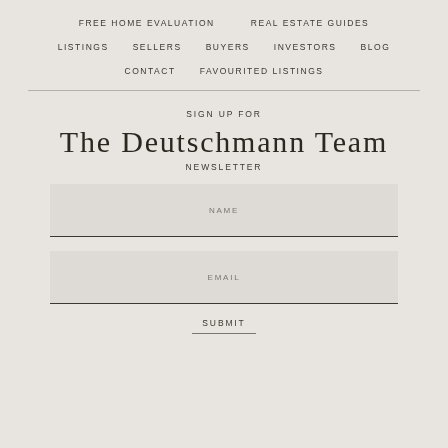FREE HOME EVALUATION   REAL ESTATE GUIDES   LISTINGS   SELLERS   BUYERS   INVESTORS   BLOG   CONTACT   FAVOURITED LISTINGS
SIGN UP FOR THE DEUTSCHMANN TEAM NEWSLETTER
NAME
EMAIL
SUBMIT